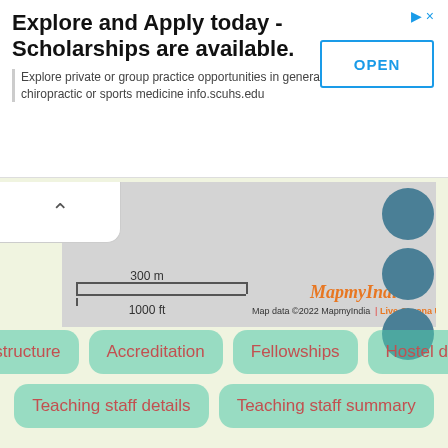Explore and Apply today - Scholarships are available.
Explore private or group practice opportunities in general chiropractic or sports medicine info.scuhs.edu
OPEN
[Figure (map): MapmyIndia map view showing a grey map area with navigation circle buttons on the right side, a scale bar showing 300 m / 1000 ft, and attribution text 'Map data ©2022 MapmyIndia | Live Corona Updates']
Infrastructure
Accreditation
Fellowships
Hostel details
Teaching staff details
Teaching staff summary